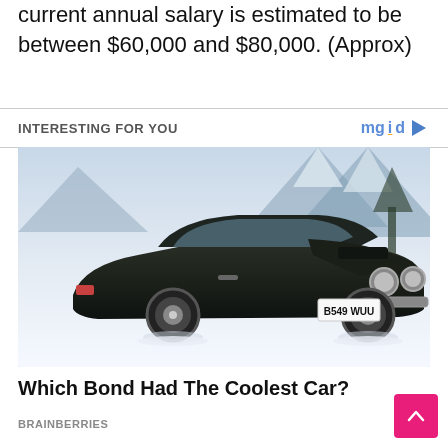current annual salary is estimated to be between $60,000 and $80,000. (Approx)
INTERESTING FOR YOU
[Figure (photo): Dark green Aston Martin V8 Vantage sports car with license plate B549 WUU photographed in a snowy mountain setting]
Which Bond Had The Coolest Car?
BRAINBERRIES